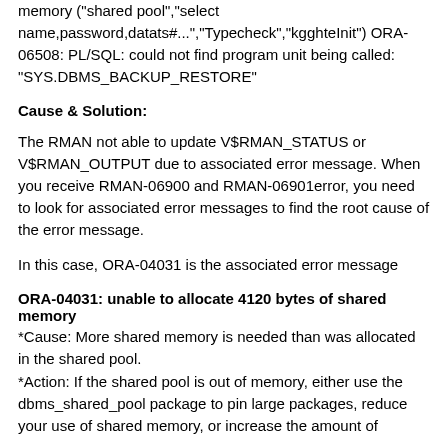memory ("shared pool","select name,password,datats#...","Typecheck","kgghteInit") ORA-06508: PL/SQL: could not find program unit being called: "SYS.DBMS_BACKUP_RESTORE"
Cause & Solution:
The RMAN not able to update V$RMAN_STATUS or V$RMAN_OUTPUT due to associated error message. When you receive RMAN-06900 and RMAN-06901error, you need to look for associated error messages to find the root cause of the error message.
In this case, ORA-04031 is the associated error message
ORA-04031: unable to allocate 4120 bytes of shared memory
*Cause: More shared memory is needed than was allocated in the shared pool.
*Action: If the shared pool is out of memory, either use the dbms_shared_pool package to pin large packages, reduce your use of shared memory, or increase the amount of